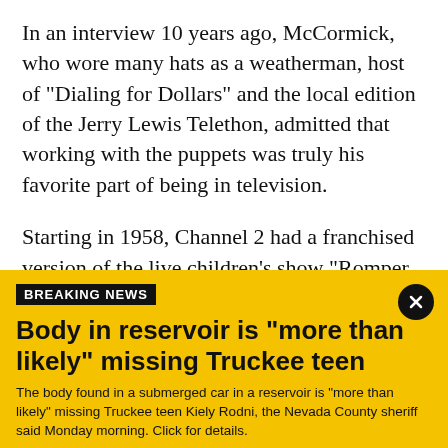In an interview 10 years ago, McCormick, who wore many hats as a weatherman, host of "Dialing for Dollars" and the local edition of the Jerry Lewis Telethon, admitted that working with the puppets was truly his favorite part of being in television.
Starting in 1958, Channel 2 had a franchised version of the live children's show "Romper Room," originally hosted by Miss Nancy (the late Nancy Besst). On the show, Miss Nancy would hold up her "magic mirror," and call out the names of children she could "see" at
BREAKING NEWS
Body in reservoir is "more than likely" missing Truckee teen
The body found in a submerged car in a reservoir is "more than likely" missing Truckee teen Kiely Rodni, the Nevada County sheriff said Monday morning. Click for details.